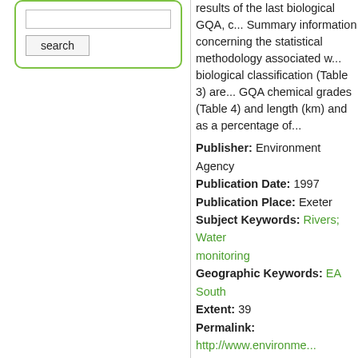results of the last biological GQA, c... Summary information concerning the statistical methodology associated with biological classification (Table 3) are... GQA chemical grades (Table 4) and length (km) and as a percentage of...
Publisher: Environment Agency
Publication Date: 1997
Publication Place: Exeter
Subject Keywords: Rivers; Water monitoring
Geographic Keywords: EA South...
Extent: 39
Permalink: http://www.environme...
Total file downloads: 0
Download PDF    Display P...